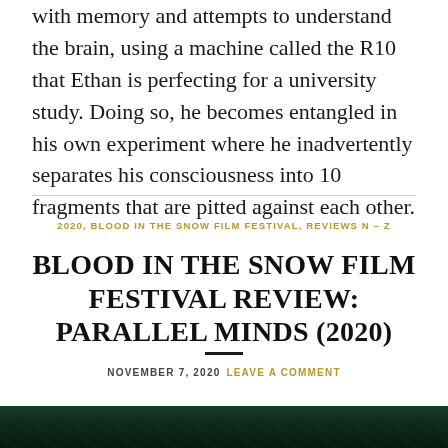with memory and attempts to understand the brain, using a machine called the R10 that Ethan is perfecting for a university study. Doing so, he becomes entangled in his own experiment where he inadvertently separates his consciousness into 10 fragments that are pitted against each other.
2020, BLOOD IN THE SNOW FILM FESTIVAL, REVIEWS N – Z
BLOOD IN THE SNOW FILM FESTIVAL REVIEW: PARALLEL MINDS (2020)
NOVEMBER 7, 2020   LEAVE A COMMENT
[Figure (photo): Dark green toned image, partially visible at bottom of page, showing geometric or network-like structures against a dark background]